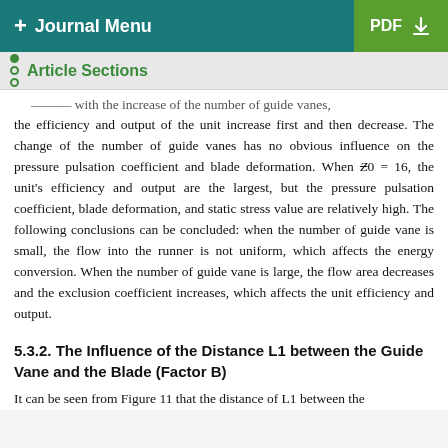+ Journal Menu | PDF ↓
Article Sections
the efficiency and output of the unit increase first and then decrease. The change of the number of guide vanes has no obvious influence on the pressure pulsation coefficient and blade deformation. When Z̄0 = 16, the unit's efficiency and output are the largest, but the pressure pulsation coefficient, blade deformation, and static stress value are relatively high. The following conclusions can be concluded: when the number of guide vane is small, the flow into the runner is not uniform, which affects the energy conversion. When the number of guide vane is large, the flow area decreases and the exclusion coefficient increases, which affects the unit efficiency and output.
5.3.2. The Influence of the Distance L1 between the Guide Vane and the Blade (Factor B)
It can be seen from Figure 11 that the distance of L1 between the